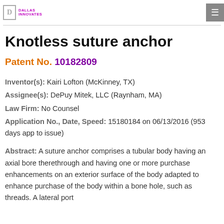Dallas Innovates
Knotless suture anchor
Patent No. 10182809
Inventor(s): Kairi Lofton (McKinney, TX)
Assignee(s): DePuy Mitek, LLC (Raynham, MA)
Law Firm: No Counsel
Application No., Date, Speed: 15180184 on 06/13/2016 (953 days app to issue)
Abstract: A suture anchor comprises a tubular body having an axial bore therethrough and having one or more purchase enhancements on an exterior surface of the body adapted to enhance purchase of the body within a bone hole, such as threads. A lateral port